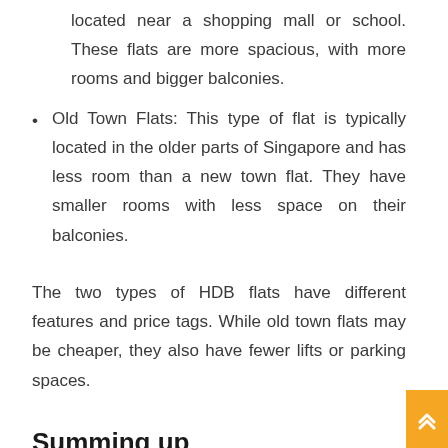located near a shopping mall or school. These flats are more spacious, with more rooms and bigger balconies.
Old Town Flats: This type of flat is typically located in the older parts of Singapore and has less room than a new town flat. They have smaller rooms with less space on their balconies.
The two types of HDB flats have different features and price tags. While old town flats may be cheaper, they also have fewer lifts or parking spaces.
Summing up